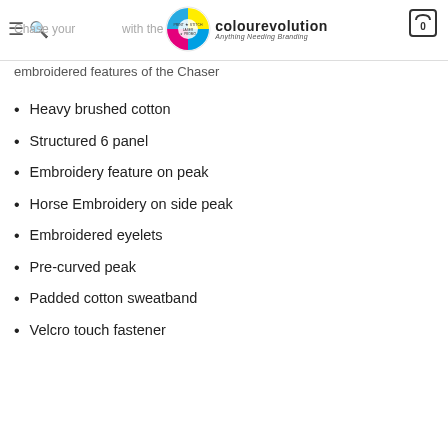ColourEvolution - Anything Needing Branding
embroidered features of the Chaser
Heavy brushed cotton
Structured 6 panel
Embroidery feature on peak
Horse Embroidery on side peak
Embroidered eyelets
Pre-curved peak
Padded cotton sweatband
Velcro touch fastener